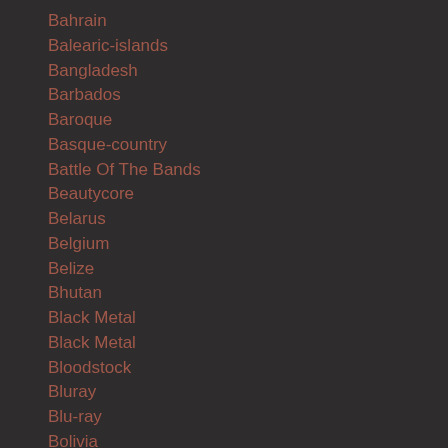Bahrain
Balearic-islands
Bangladesh
Barbados
Baroque
Basque-country
Battle Of The Bands
Beautycore
Belarus
Belgium
Belize
Bhutan
Black Metal
Black Metal
Bloodstock
Bluray
Blu-ray
Bolivia
Book
Booking-management